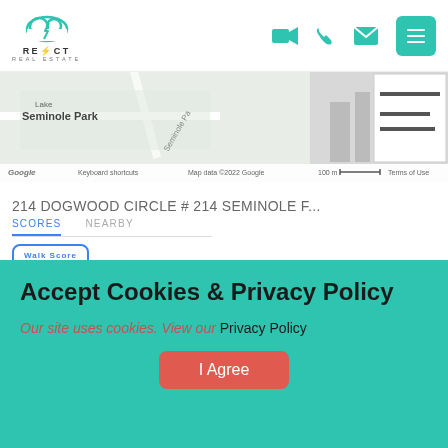[Figure (logo): React Real Estate logo with cloud icon and lightning bolt]
[Figure (screenshot): Google Maps view showing Lake Seminole Park area with street labels, Google branding, keyboard shortcuts, map data copyright 2022 Google, 100m scale, Terms of Use link]
214 DOGWOOD CIRCLE # 214 SEMINOLE F...
SCORES    NEARBY
Walk Score 20   Car-Dependent
Accept Cookies & Privacy Policy
Our site uses cookies. View our Privacy Policy
I Agree